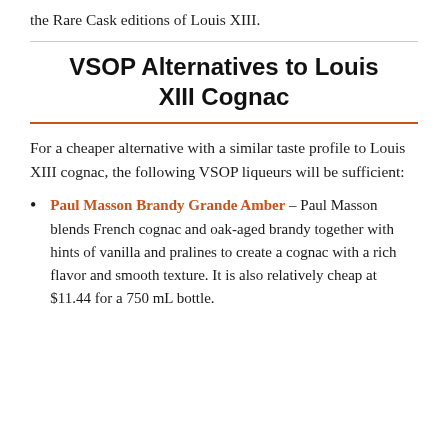the Rare Cask editions of Louis XIII.
VSOP Alternatives to Louis XIII Cognac
For a cheaper alternative with a similar taste profile to Louis XIII cognac, the following VSOP liqueurs will be sufficient:
Paul Masson Brandy Grande Amber – Paul Masson blends French cognac and oak-aged brandy together with hints of vanilla and pralines to create a cognac with a rich flavor and smooth texture. It is also relatively cheap at $11.44 for a 750 mL bottle.